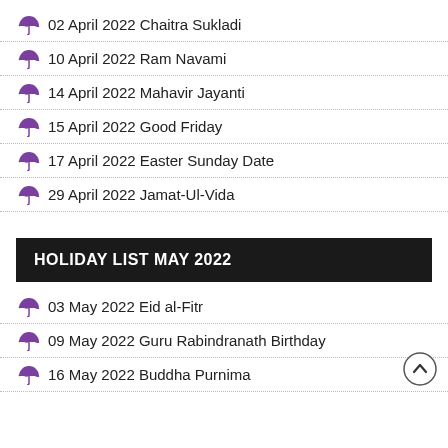🌂 02 April 2022 Chaitra Sukladi
🌂 10 April 2022 Ram Navami
🌂 14 April 2022 Mahavir Jayanti
🌂 15 April 2022 Good Friday
🌂 17 April 2022 Easter Sunday Date
🌂 29 April 2022 Jamat-Ul-Vida
HOLIDAY LIST MAY 2022
🌂 03 May 2022 Eid al-Fitr
🌂 09 May 2022 Guru Rabindranath Birthday
🌂 16 May 2022 Buddha Purnima